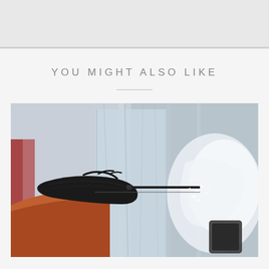[Figure (other): Gray top bar area, appears to be a partially visible image or header graphic]
YOU MIGHT ALSO LIKE
[Figure (photo): A person wearing a black glove using a tool to carve or work on a large ice sculpture. The ice is clear with frosty white textures. The background shows more ice structures outdoors in winter.]